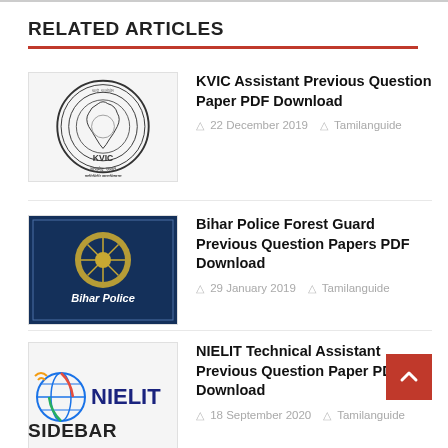RELATED ARTICLES
[Figure (logo): KVIC circular seal/stamp logo with Sanskrit text below]
KVIC Assistant Previous Question Paper PDF Download
22 December 2019  Tamilanguide
[Figure (logo): Bihar Police logo with text 'Bihar Police' below, dark blue background]
Bihar Police Forest Guard Previous Question Papers PDF Download
29 January 2019  Tamilanguide
[Figure (logo): NIELIT logo with globe and text]
NIELIT Technical Assistant Previous Question Paper PDF Download
18 September 2020  Tamilanguide
SIDEBAR